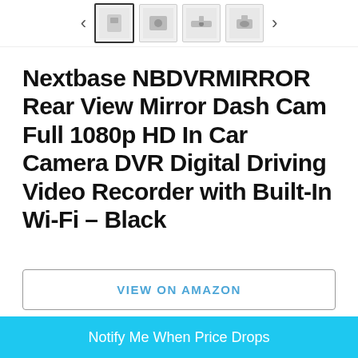[Figure (screenshot): Product image thumbnail navigation bar with left/right arrows and 4 product thumbnails]
Nextbase NBDVRMIRROR Rear View Mirror Dash Cam Full 1080p HD In Car Camera DVR Digital Driving Video Recorder with Built-In Wi-Fi - Black
VIEW ON AMAZON
Notify Me When Price Drops